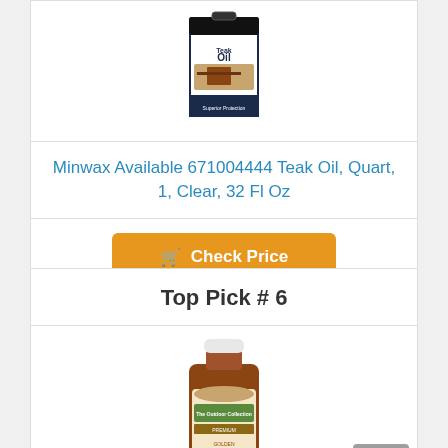[Figure (photo): Minwax Teak Oil product can with Adirondack chair image on label]
Minwax Available 671004444 Teak Oil, Quart, 1, Clear, 32 Fl Oz
Check Price
Top Pick # 6
[Figure (photo): Golden Teak Oil bottle - The Outdoor Collection Premium Golden Teak Oil]